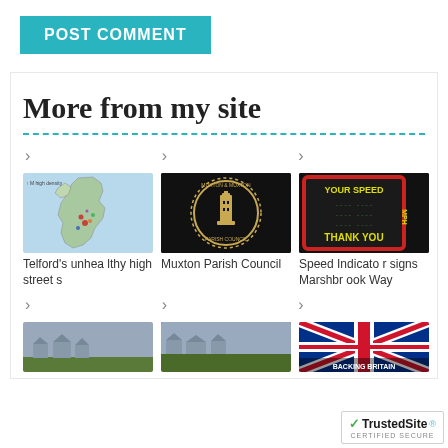[Figure (screenshot): POST COMMENT button in teal/cyan color]
More from my site
[Figure (photo): Thumbnail: map of England with colored regions - Telford's unhealthy high streets]
Telford's unhealthy high streets
[Figure (logo): Muxton & Muxton Parish Council badge/logo on black background]
Muxton Parish Council
[Figure (photo): Speed Indicator sign showing YOUR SPEED and THANK YOU in yellow on dark background with red border]
Speed Indicator signs Marshbrook Way
[Figure (photo): Houses with cloudy sky]
[Figure (photo): Houses with cloudy sky and trees]
[Figure (photo): Union Jack flag - Backing Britain]
[Figure (logo): TrustedSite certified secure badge]